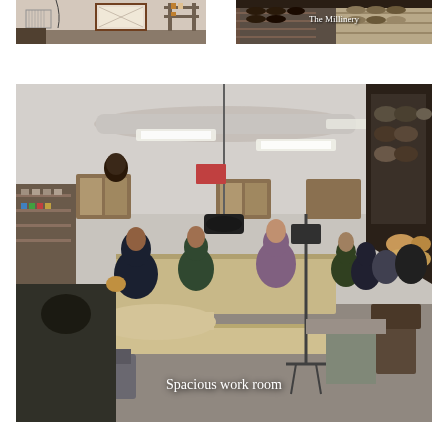[Figure (photo): Interior workshop or office area with framed artwork on wall, wire basket, and various items on a shelf or counter]
[Figure (photo): The Millinery - interior shop with shelves of hats and hat-making supplies, wooden shelving units visible]
[Figure (photo): Spacious work room - large interior workspace with fluorescent lighting, long work tables, sewing machines, multiple people working, hat-making materials and equipment, racks of supplies on walls]